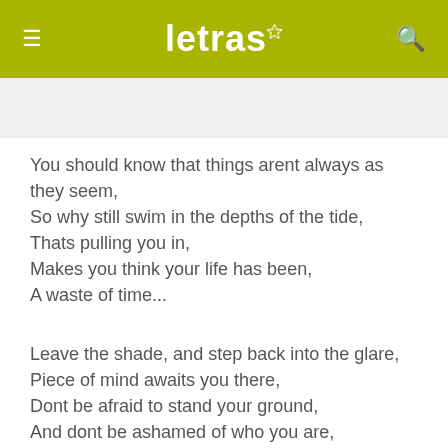letras
You should know that things arent always as they seem,
So why still swim in the depths of the tide,
Thats pulling you in,
Makes you think your life has been,
A waste of time...
Leave the shade, and step back into the glare,
Piece of mind awaits you there,
Dont be afraid to stand your ground,
And dont be ashamed of who you are,